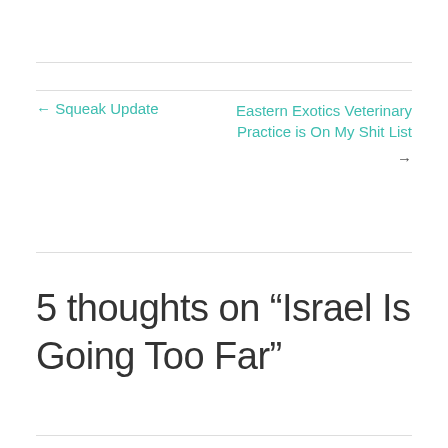← Squeak Update
Eastern Exotics Veterinary Practice is On My Shit List →
5 thoughts on “Israel Is Going Too Far”